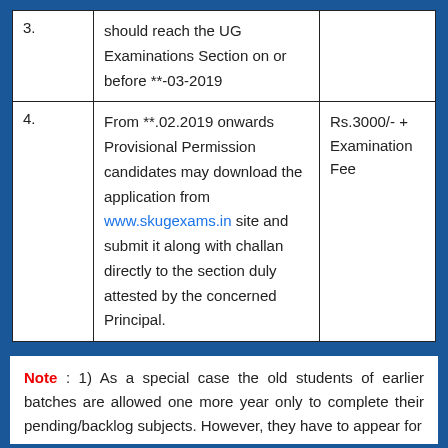|  |  |  |
| --- | --- | --- |
| 3. | should reach the UG Examinations Section on or before **-03-2019 |  |
| 4. | From **.02.2019 onwards Provisional Permission candidates may download the application from www.skugexams.in site and submit it along with challan directly to the section duly attested by the concerned Principal. | Rs.3000/- + Examination Fee |
Note : 1) As a special case the old students of earlier batches are allowed one more year only to complete their pending/backlog subjects. However, they have to appear for